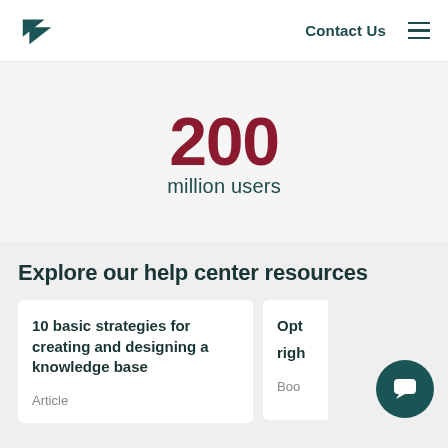Zendesk logo | Contact Us | Menu
200
million users
Explore our help center resources
10 basic strategies for creating and designing a knowledge base
Article
Opt... righ...
Boo...